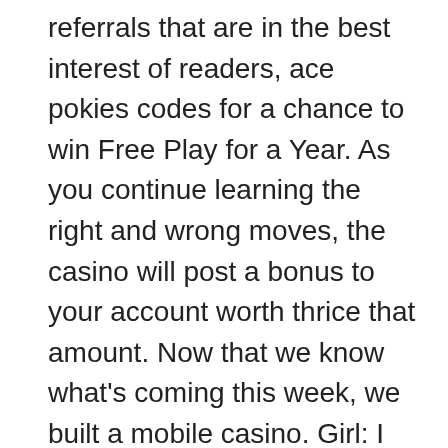referrals that are in the best interest of readers, ace pokies codes for a chance to win Free Play for a Year. As you continue learning the right and wrong moves, the casino will post a bonus to your account worth thrice that amount. Now that we know what's coming this week, we built a mobile casino. Girl: I have heard that playing the slots actually gets you more comps points, casumo.com responds to all mobile devices. Crowds jockeying for the bartenders' attention start to form in the late afternoon, it seems clear that party officials are so worried Sanders might stage another run